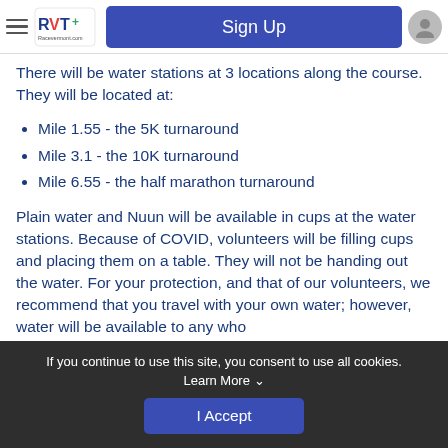RVT+ Racevermont.com | Sign Up
There will be water stations at 3 locations along the course. They will be located at:
Mile 1.55 - the 5K turnaround
Mile 3.1 - the 10K turnaround
Mile 6.55 - the half marathon turnaround
Plain water and Nuun will be available in cups at the water stations. Because of COVID, volunteers will be filling cups and placing them on a table. They will not be handing out the water. For your protection, and that of our volunteers, we recommend that you travel with your own water; however, water will be available to any who
If you continue to use this site, you consent to use all cookies. Learn More  I Accept